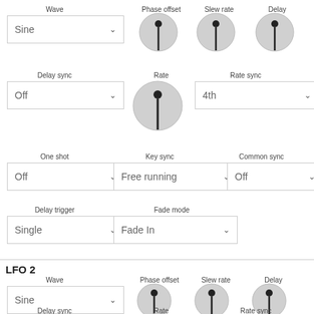[Figure (screenshot): LFO 1 controls: Wave dropdown (Sine), Phase offset knob, Slew rate knob, Delay knob, Rate knob, Delay sync dropdown (Off), Rate sync dropdown (4th), One shot dropdown (Off), Key sync dropdown (Free running), Common sync dropdown (Off), Delay trigger dropdown (Single), Fade mode dropdown (Fade In)]
LFO 2
[Figure (screenshot): LFO 2 controls: Wave dropdown (Sine), Phase offset knob, Slew rate knob, Delay knob, Rate knob (partially visible), Delay sync row, Rate sync row]